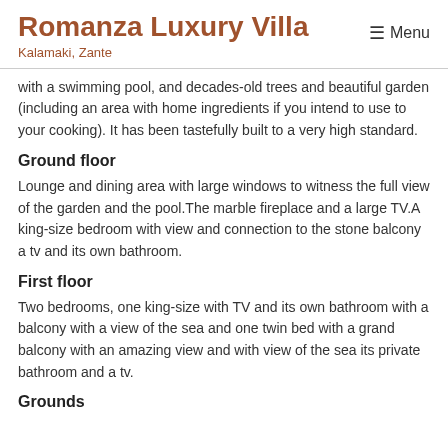Romanza Luxury Villa
Kalamaki, Zante
Menu
with a swimming pool, and decades-old trees and beautiful garden (including an area with home ingredients if you intend to use to your cooking). It has been tastefully built to a very high standard.
Ground floor
Lounge and dining area with large windows to witness the full view of the garden and the pool.The marble fireplace and a large TV.A king-size bedroom with view and connection to the stone balcony a tv and its own bathroom.
First floor
Two bedrooms, one king-size with TV and its own bathroom with a balcony with a view of the sea and one twin bed with a grand balcony with an amazing view and with view of the sea its private bathroom and a tv.
Grounds